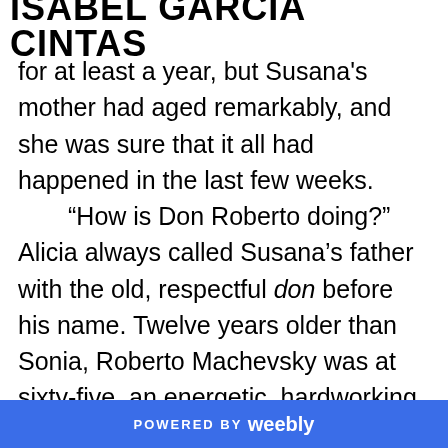ISABEL GARCIA CINTAS
for at least a year, but Susana's mother had aged remarkably, and she was sure that it all had happened in the last few weeks.

“How is Don Roberto doing?” Alicia always called Susana’s father with the old, respectful don before his name. Twelve years older than Sonia, Roberto Machevsky was at sixty-five, an energetic, hardworking man that had retired only ten months earlier and was still waiting for his first check doing small part-time jobs. Alicia knew he would be devastated by Susana’s disappearance.
“He had a mild stroke, and we had to rush him
POWERED BY weebly